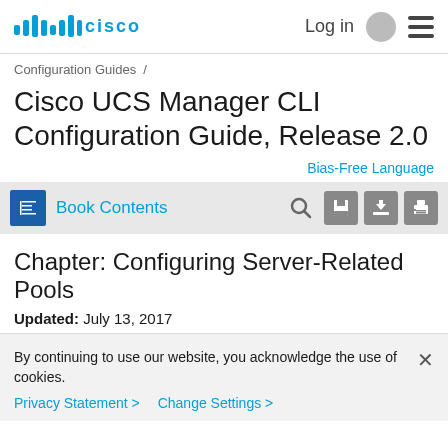Cisco  Log in  [hamburger menu]
Configuration Guides /
Cisco UCS Manager CLI Configuration Guide, Release 2.0
Bias-Free Language
Book Contents
Chapter: Configuring Server-Related Pools
Updated: July 13, 2017
By continuing to use our website, you acknowledge the use of cookies.
Privacy Statement >   Change Settings >